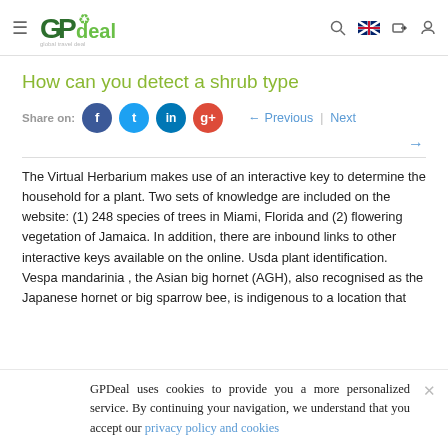GPdeal navigation header with logo, search, language, and user icons
How can you detect a shrub type
Share on:
← Previous | Next →
The Virtual Herbarium makes use of an interactive key to determine the household for a plant. Two sets of knowledge are included on the website: (1) 248 species of trees in Miami, Florida and (2) flowering vegetation of Jamaica. In addition, there are inbound links to other interactive keys available on the online. Usda plant identification. Vespa mandarinia , the Asian big hornet (AGH), also recognised as the Japanese hornet or big sparrow bee, is indigenous to a location that
GPDeal uses cookies to provide you a more personalized service. By continuing your navigation, we understand that you accept our privacy policy and cookies